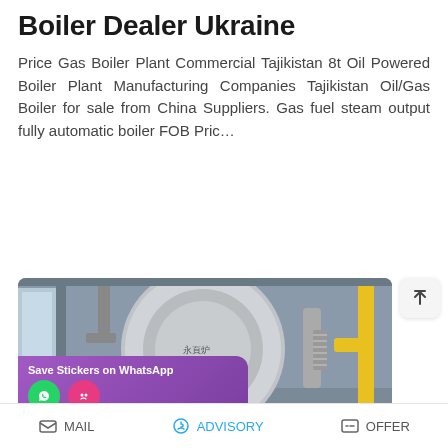Boiler Dealer Ukraine
Price Gas Boiler Plant Commercial Tajikistan 8t Oil Powered Boiler Plant Manufacturing Companies Tajikistan Oil/Gas Boiler for sale from China Suppliers. Gas fuel steam output fully automatic boiler FOB Pric…
[Figure (other): Blue rounded button with white bold uppercase text 'READ MORE']
[Figure (photo): Industrial boiler room with a large silver cylindrical gas boiler, silver pipes, yellow gas pipes, and a red burner component. A purple WhatsApp overlay shows 'Save Stickers on WhatsApp' with green phone and pink emoji icons.]
MAIL   ADVISORY   OFFER